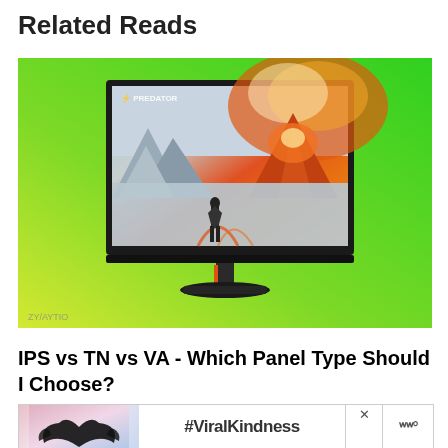Related Reads
[Figure (photo): Acer Predator gaming monitor with volcanic landscape wallpaper displayed on screen, set against a yellow-to-green gradient background]
IPS vs TN vs VA - Which Panel Type Should I Choose?
[Figure (other): Advertisement banner showing hands making heart shape with #ViralKindness text and a logo, with an X close button]